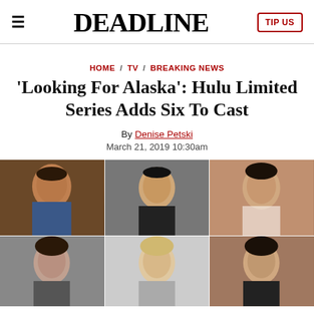≡  DEADLINE  TIP US
HOME / TV / BREAKING NEWS
'Looking For Alaska': Hulu Limited Series Adds Six To Cast
By Denise Petski
March 21, 2019 10:30am
[Figure (photo): Six cast member headshots arranged in a 3x2 grid: three actors in the top row, three in the bottom row]